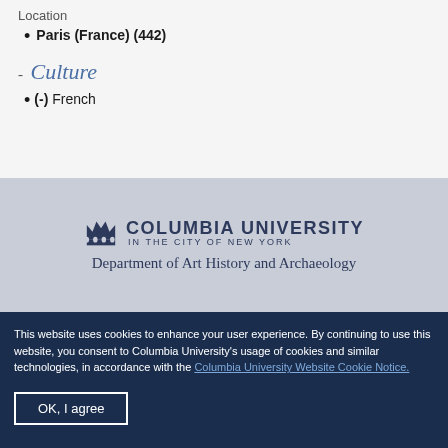Location
Paris (France) (442)
- Culture
(-) French
[Figure (logo): Columbia University logo with crown icon and text 'COLUMBIA UNIVERSITY IN THE CITY OF NEW YORK']
Department of Art History and Archaeology
This website uses cookies to enhance your user experience. By continuing to use this website, you consent to Columbia University's usage of cookies and similar technologies, in accordance with the Columbia University Website Cookie Notice.
OK, I agree